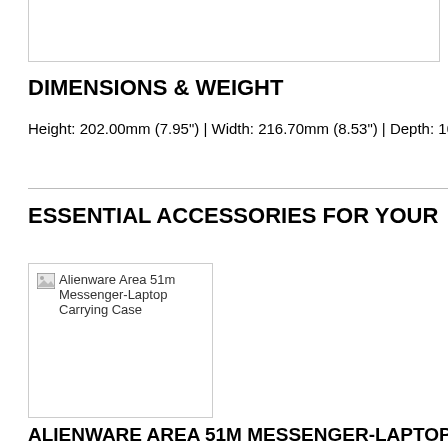[Figure (other): Empty bordered box at top of page]
DIMENSIONS & WEIGHT
Height: 202.00mm (7.95") | Width: 216.70mm (8.53") | Depth: 104.2
ESSENTIAL ACCESSORIES FOR YOUR
[Figure (photo): Alienware Area 51m Messenger-Laptop Carrying Case product image placeholder]
ALIENWARE AREA 51M MESSENGER-LAPTOP CA